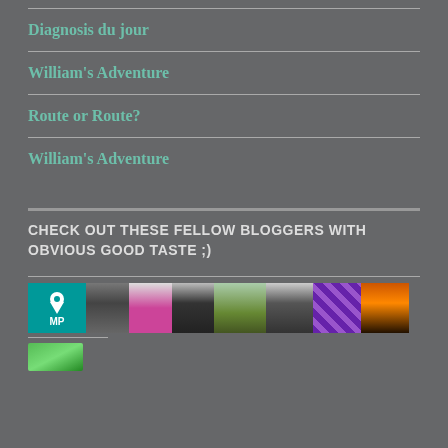Diagnosis du jour
William's Adventure
Route or Route?
William's Adventure
CHECK OUT THESE FELLOW BLOGGERS WITH OBVIOUS GOOD TASTE ;)
[Figure (photo): A horizontal strip of blogger avatar images including an MP location pin logo, a man in a hat, a woman in pink, a woman in black, a tree, a person in black and white, a quilt pattern, and a sunset silhouette]
[Figure (photo): A partial green avatar image at the bottom of the page]